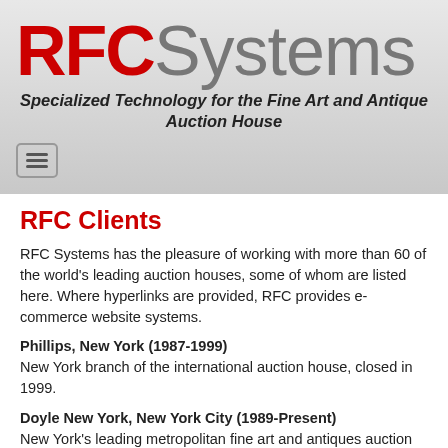RFC Systems - Specialized Technology for the Fine Art and Antique Auction House
[Figure (logo): RFC Systems logo with RFC in red and Systems in gray, large bold text]
Specialized Technology for the Fine Art and Antique Auction House
[Figure (other): Hamburger menu button icon (three horizontal bars in a rounded rectangle)]
RFC Clients
RFC Systems has the pleasure of working with more than 60 of the world's leading auction houses, some of whom are listed here. Where hyperlinks are provided, RFC provides e-commerce website systems.
Phillips, New York (1987-1999)
New York branch of the international auction house, closed in 1999.
Doyle New York, New York City (1989-Present)
New York's leading metropolitan fine art and antiques auction house. www.doylenewyork.com